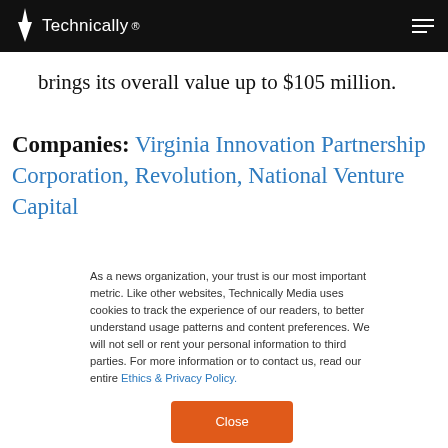Technically
brings its overall value up to $105 million.
Companies: Virginia Innovation Partnership Corporation, Revolution, National Venture Capital
As a news organization, your trust is our most important metric. Like other websites, Technically Media uses cookies to track the experience of our readers, to better understand usage patterns and content preferences. We will not sell or rent your personal information to third parties. For more information or to contact us, read our entire Ethics & Privacy Policy.
Close